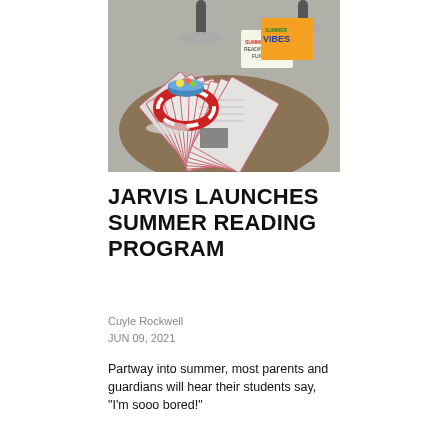[Figure (photo): Photo of a round table with multiple ziplock bags fanned out containing printed materials/packets, a bowl of candy or food, a small inflatable pool ring, and signs reading 'Summer Reading' and 'Summer Vibes' in the background, set on a carpeted floor.]
JARVIS LAUNCHES SUMMER READING PROGRAM
Cuyle Rockwell
JUN 09, 2021
Partway into summer, most parents and guardians will hear their students say, "I'm sooo bored!"